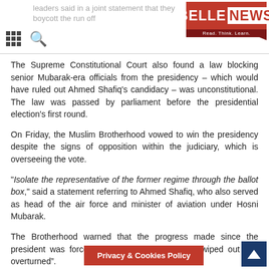leaders said in a joint statement that they boycott the run off
The Supreme Constitutional Court also found a law blocking senior Mubarak-era officials from the presidency – which would have ruled out Ahmed Shafiq's candidacy – was unconstitutional. The law was passed by parliament before the presidential election's first round.
On Friday, the Muslim Brotherhood vowed to win the presidency despite the signs of opposition within the judiciary, which is overseeing the vote.
“Isolate the representative of the former regime through the ballot box,” said a statement referring to Ahmed Shafiq, who also served as head of the air force and minister of aviation under Hosni Mubarak.
The Brotherhood warned that the progress made since the president was forced to step down was being “wiped out and overturned”.
Egypt was facing a situation that was “even more dangerous than that in the final days of Mubarak’s r
[Figure (logo): BELLE NEWS logo with red background and tagline Read. Think. Learn.]
Privacy & Cookies Policy